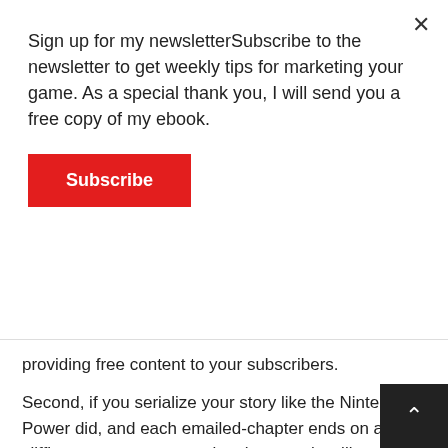Sign up for my newsletterSubscribe to the newsletter to get weekly tips for marketing your game. As a special thank you, I will send you a free copy of my ebook.
Subscribe
providing free content to your subscribers.
Second, if you serialize your story like the Nintendo Power did, and each emailed-chapter ends on a cliffhanger, you are ensuring that people will open your next message (boosting open rates.)  It also makes people less likely to unsubscribe if they want to see how the story unfolds.
Next, you are filling out the story of your games. This will make those who already bought the game have a better understanding of the story and lore. You might also b to embellish on details that you had to cut from the g because of time or budget constraints